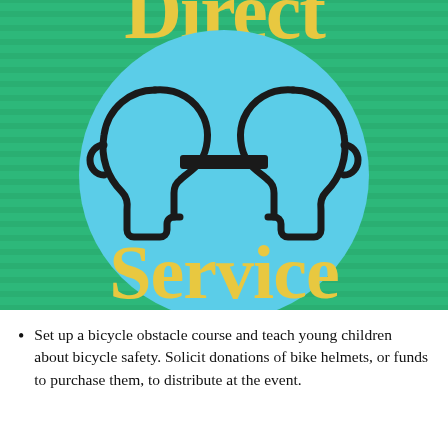[Figure (illustration): Direct Service logo: green striped background with a large light blue circle containing two silhouetted head outlines facing each other, connected by a horizontal bar. Yellow text reads 'Direct Service' across the image.]
Set up a bicycle obstacle course and teach young children about bicycle safety. Solicit donations of bike helmets, or funds to purchase them, to distribute at the event.